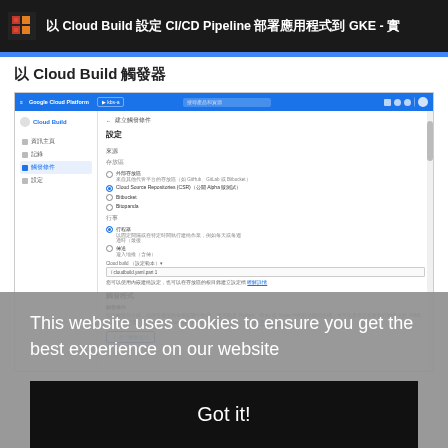以 Cloud Build 設定 CI/CD Pipeline 部署應用程式到 GKE - 實
以 Cloud Build 觸發器
[Figure (screenshot): Google Cloud Platform Cloud Build 設定觸發條件 (CI/CD pipeline) 介面截圖，顯示建構觸發條件設定頁面，包含設定、來源、触发条件等選項，以及觸發程式設定欄位]
This website uses cookies to ensure you get the best experience on our website
Got it!